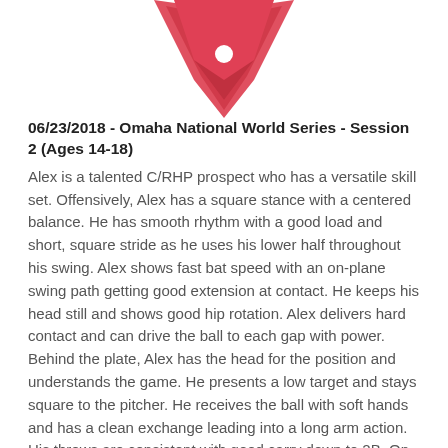[Figure (logo): Red downward-pointing chevron/arrow logo with a white circle dot in the center]
06/23/2018 - Omaha National World Series - Session 2 (Ages 14-18)
Alex is a talented C/RHP prospect who has a versatile skill set. Offensively, Alex has a square stance with a centered balance. He has smooth rhythm with a good load and short, square stride as he uses his lower half throughout his swing. Alex shows fast bat speed with an on-plane swing path getting good extension at contact. He keeps his head still and shows good hip rotation. Alex delivers hard contact and can drive the ball to each gap with power. Behind the plate, Alex has the head for the position and understands the game. He presents a low target and stays square to the pitcher. He receives the ball with soft hands and has a clean exchange leading into a long arm action. His throws are consistent with good carry down to 2B. On the mound, works with good tempo and pitches to contact. He has a balanced, on-time delivery throwing from an over the top arm slot. He has a clean arm action and extends through his release. Alex stays square to home plate with a controlled landing. He does a nice job finishing with his chest over his front knee. Alex commands